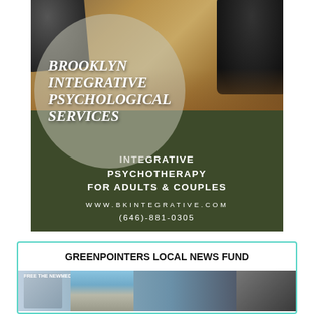[Figure (photo): Advertisement for Brooklyn Integrative Psychological Services. Dark olive/green background with a photo of a therapy office with wood floors and dark chairs at the top. A large semi-transparent circle overlays the photo containing bold italic serif text: BROOKLYN INTEGRATIVE PSYCHOLOGICAL SERVICES. Below: INTEGRATIVE PSYCHOTHERAPY FOR ADULTS & COUPLES, WWW.BKINTEGRATIVE.COM, (646)-881-0305]
GREENPOINTERS LOCAL NEWS FUND
[Figure (photo): Photo strip at bottom of the page showing people and a building, partially cut off, associated with the Greenpointers Local News Fund.]